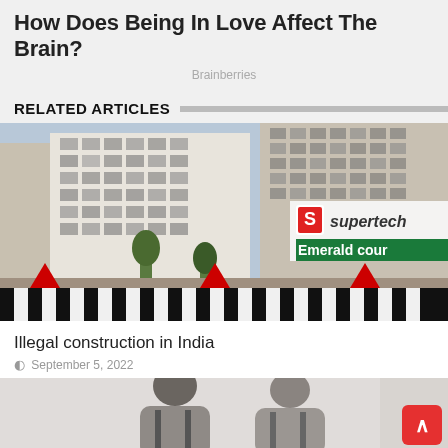How Does Being In Love Affect The Brain?
Brainberries
RELATED ARTICLES
[Figure (photo): Photograph of a high-rise building under construction or demolition, with a Supertech Emerald Court sign visible. Black and white striped barrier fence at the bottom with red triangle decorations.]
Illegal construction in India
September 5, 2022
[Figure (photo): Partial photo of two men in suits, cropped at chin level showing only their torsos and parts of their faces.]